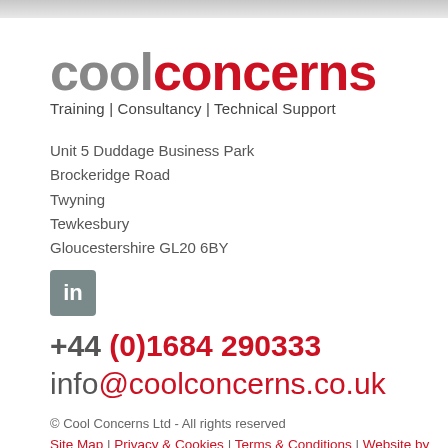[Figure (logo): Cool Concerns logo: 'cool' in grey and 'concerns' in red, large bold text, with tagline 'Training | Consultancy | Technical Support' below]
Unit 5 Duddage Business Park
Brockeridge Road
Twyning
Tewkesbury
Gloucestershire GL20 6BY
[Figure (logo): LinkedIn icon: white 'in' on grey/dark square background]
+44 (0)1684 290333
info@coolconcerns.co.uk
© Cool Concerns Ltd - All rights reserved
Site Map | Privacy & Cookies | Terms & Conditions | Website by MAXX Design